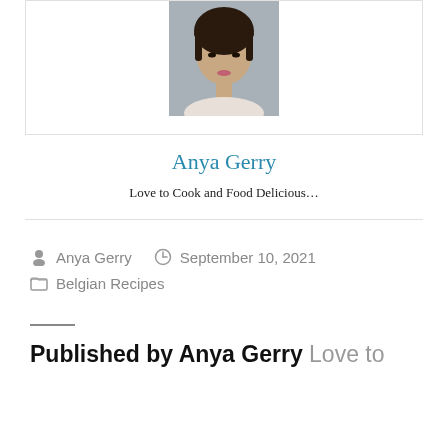[Figure (photo): Portrait photo of a young Asian woman with dark hair and bangs, against a gray background.]
Anya Gerry
Love to Cook and Food Delicious…
Posted by Anya Gerry   September 10, 2021   Belgian Recipes
Published by Anya Gerry Love to